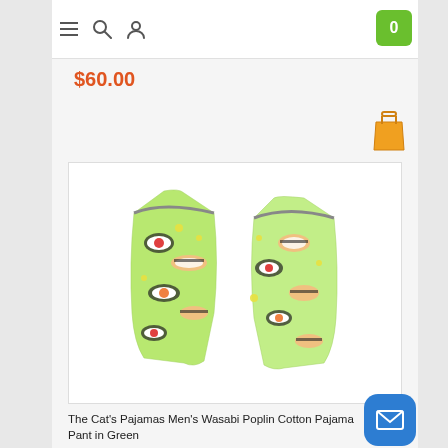Navigation bar with menu, search, user icons and cart (0)
$60.00
[Figure (photo): Green sushi-print pajama pants folded, showing colorful sushi illustrations on light green fabric background]
The Cat's Pajamas Men's Wasabi Poplin Cotton Pajama Pant in Green